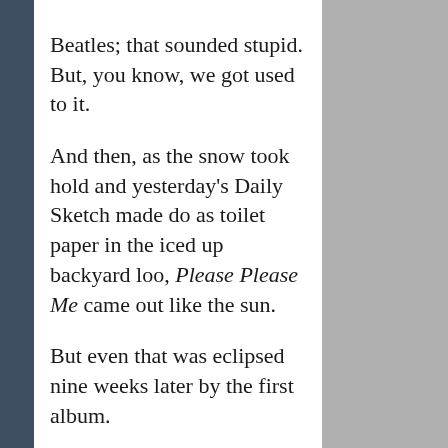Beatles; that sounded stupid. But, you know, we got used to it.

And then, as the snow took hold and yesterday's Daily Sketch made do as toilet paper in the iced up backyard loo, Please Please Me came out like the sun.

But even that was eclipsed nine weeks later by the first album.

The Please Please Me